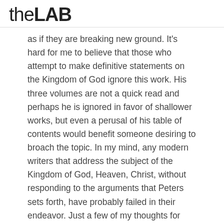theLAB
as if they are breaking new ground. It’s hard for me to believe that those who attempt to make definitive statements on the Kingdom of God ignore this work. His three volumes are not a quick read and perhaps he is ignored in favor of shallower works, but even a perusal of his table of contents would benefit someone desiring to broach the topic. In my mind, any modern writers that address the subject of the Kingdom of God, Heaven, Christ, without responding to the arguments that Peters sets forth, have probably failed in their endeavor. Just a few of my thoughts for what it’s worth.
[Figure (other): Social media sharing bar with navigation arrows and circular icon buttons for Facebook, Twitter, Reddit, Pinterest, Email, and LinkedIn]